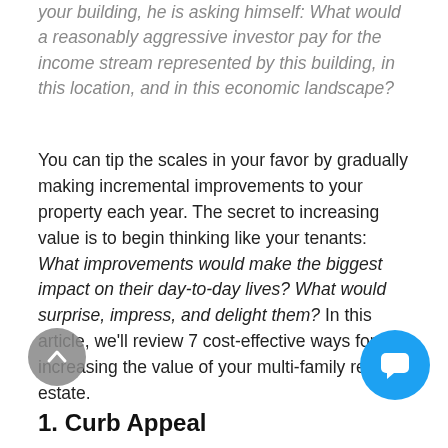your building, he is asking himself: What would a reasonably aggressive investor pay for the income stream represented by this building, in this location, and in this economic landscape?
You can tip the scales in your favor by gradually making incremental improvements to your property each year. The secret to increasing value is to begin thinking like your tenants: What improvements would make the biggest impact on their day-to-day lives? What would surprise, impress, and delight them? In this article, we'll review 7 cost-effective ways for increasing the value of your multi-family real estate.
1. Curb Appeal